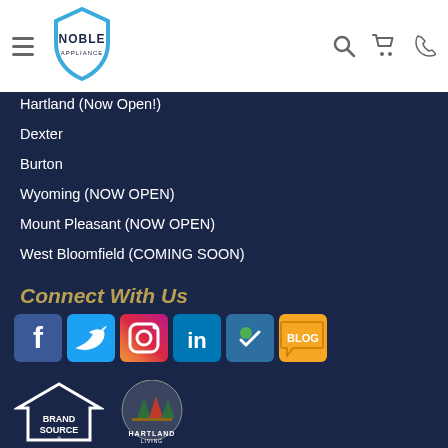[Figure (logo): Noble Appliance logo with shield icon]
Hartland (Now Open!)
Dexter
Burton
Wyoming (NOW OPEN)
Mount Pleasant (NOW OPEN)
West Bloomfield (COMING SOON)
Connect With Us
[Figure (infographic): Row of social media icons: Facebook, Twitter, Instagram, LinkedIn, Foursquare/check-in, Blog]
[Figure (logo): BrandSource logo and Hartland Living logo at bottom]